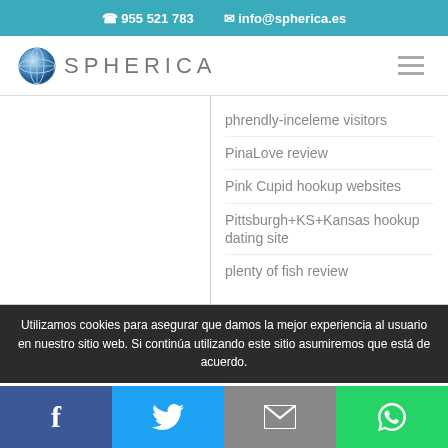☎ 955 521 783   ✉ info@spherica.es
[Figure (logo): Spherica globe logo with text SPHERICA]
phrendly-inceleme visitors
PinaLove review
Pink Cupid hookup websites
Pittsburgh+KS+Kansas hookup dating site
plenty of fish review
Utilizamos cookies para asegurar que damos la mejor experiencia al usuario en nuestro sitio web. Si continúa utilizando este sitio asumiremos que está de acuerdo.
Facebook | Twitter | Email | WhatsApp social share buttons